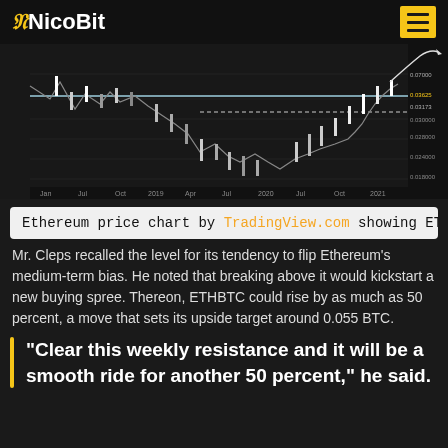NicoBit
[Figure (continuous-plot): Ethereum price chart (ETHBTC) from TradingView showing candlestick price action from approximately 2018 to 2021, with a horizontal resistance line and a dotted target line, and an upward curved arrow indicating projected price movement toward 0.055 BTC.]
Ethereum price chart by TradingView.com showing ETHB
Mr. Cleps recalled the level for its tendency to flip Ethereum’s medium-term bias. He noted that breaking above it would kickstart a new buying spree. Thereon, ETHBTC could rise by as much as 50 percent, a move that sets its upside target around 0.055 BTC.
“Clear this weekly resistance and it will be a smooth ride for another 50 percent,” he said.